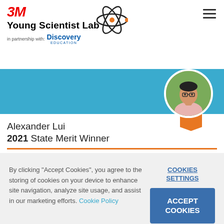3M Young Scientist Lab in partnership with Discovery Education
[Figure (screenshot): Blue banner with profile photo of Alexander Lui in a circular frame with white border, and an orange ribbon badge below]
Alexander Lui
2021 State Merit Winner
By clicking "Accept Cookies", you agree to the storing of cookies on your device to enhance site navigation, analyze site usage, and assist in our marketing efforts. Cookie Policy
COOKIES SETTINGS
ACCEPT COOKIES